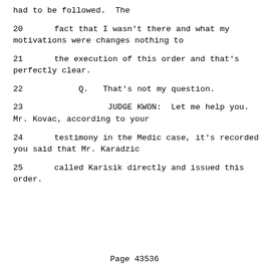had to be followed.  The
20     fact that I wasn't there and what my motivations were changes nothing to
21     the execution of this order and that's perfectly clear.
22          Q.   That's not my question.
23               JUDGE KWON:  Let me help you.  Mr. Kovac, according to your
24     testimony in the Medic case, it's recorded you said that Mr. Karadzic
25     called Karisik directly and issued this order.
Page 43536